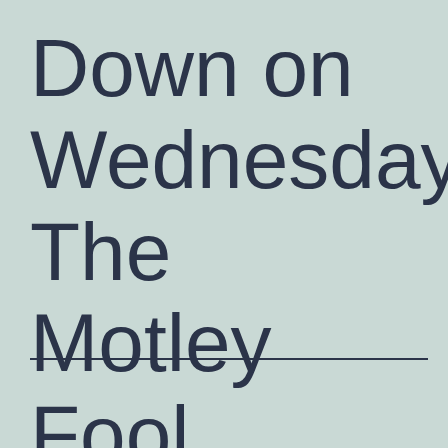Down on Wednesday The Motley Fool